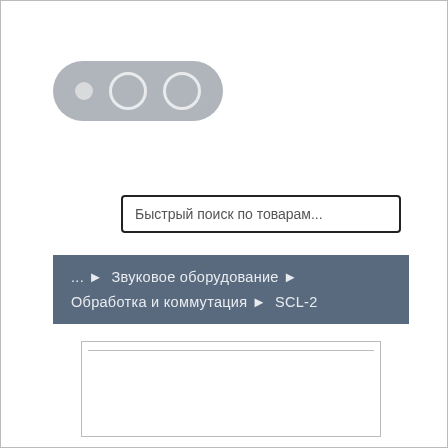[Figure (logo): Gray pill-shaped logo with one small filled circle and two larger outlined circles]
Быстрый поиск по товарам...
... ► Звуковое оборудование ► Обработка и коммутация ► SCL-2
[Figure (screenshot): Empty white content box with border and inner horizontal rule]